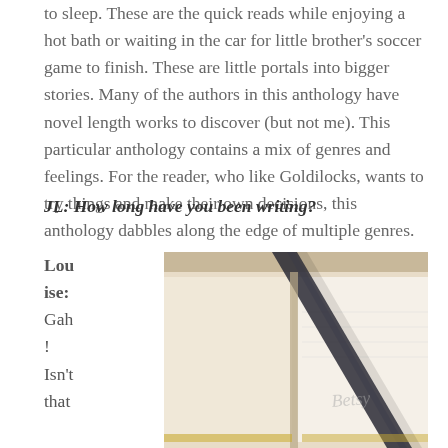to sleep. These are the quick reads while enjoying a hot bath or waiting in the car for little brother's soccer game to finish. These are little portals into bigger stories. Many of the authors in this anthology have novel length works to discover (but not me). This particular anthology contains a mix of genres and feelings. For the reader, who like Goldilocks, wants to try things and make their own decisions, this anthology dabbles along the edge of multiple genres.
JL: How long have you been writing?
Louise: Gah! Isn't that
[Figure (photo): Close-up photo of an open notebook or journal with a dark ribbon bookmark and handwritten text on the pages]